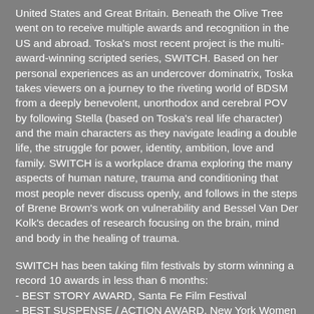United States and Great Britain. Beneath the Olive Tree went on to receive multiple awards and recognition in the US and abroad. Toska's most recent project is the multi-award-winning scripted series, SWITCH. Based on her personal experiences as an undercover dominatrix, Toska takes viewers on a journey to the riveting world of BDSM from a deeply benevolent, unorthodox and cerebral POV by following Stella (based on Toska's real life character) and the main characters as they navigate leading a double life, the struggle for power, identity, ambition, love and family. SWITCH is a workplace drama exploring the many aspects of human nature, trauma and conditioning that most people never discuss openly, and follows in the steps of Brene Brown's work on vulnerability and Bessel Van Der Kolk's decades of research focusing on the brain, mind and body in the healing of trauma.
SWITCH has been taking film festivals by storm winning a record 10 awards in less than 6 months:
- BEST STORY AWARD, Santa Fe Film Festival
- BEST SUSPENSE / ACTION AWARD, New York Women in Film and Television, Go Indie TV, Roku TV Film Festival